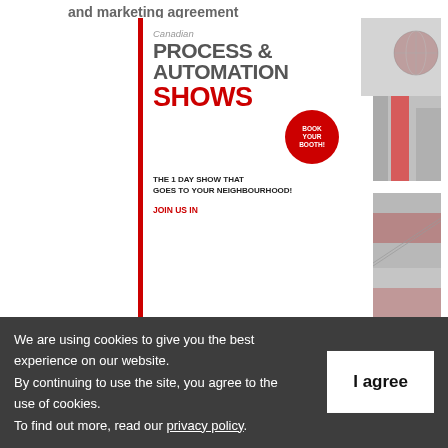and marketing agreement
[Figure (advertisement): Canadian Process & Automation Shows advertisement with red and gray branding, book your booth circle, and black-and-white with red-tinted photo collage on the right side. Text reads: Canadian, PROCESS & AUTOMATION, SHOWS, BOOK YOUR BOOTH!, THE 1 DAY SHOW THAT GOES TO YOUR NEIGHBOURHOOD!, JOIN US IN]
We are using cookies to give you the best experience on our website. By continuing to use the site, you agree to the use of cookies. To find out more, read our privacy policy.
I agree